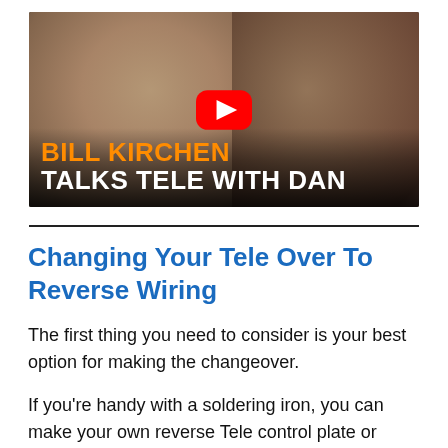[Figure (screenshot): YouTube video thumbnail showing two men. Text overlay reads 'BILL KIRCHEN TALKS TELE WITH DAN' in orange and white bold text. A red YouTube play button is centered on the image.]
Changing Your Tele Over To Reverse Wiring
The first thing you need to consider is your best option for making the changeover.
If you're handy with a soldering iron, you can make your own reverse Tele control plate or